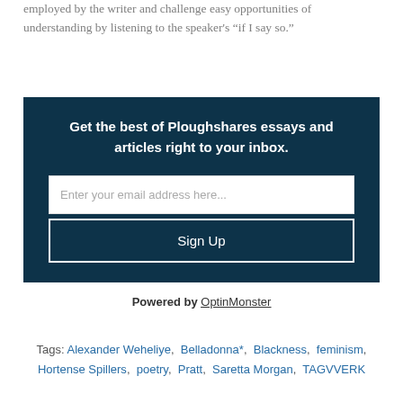employed by the writer and challenge easy opportunities of understanding by listening to the speaker’s “if I say so.”
[Figure (other): Newsletter signup widget with dark navy background. Contains heading 'Get the best of Ploughshares essays and articles right to your inbox.', an email input field with placeholder 'Enter your email address here...', and a 'Sign Up' button.]
Powered by OptinMonster
Tags: Alexander Weheliye, Belladonna*, Blackness, feminism, Hortense Spillers, poetry, Pratt, Saretta Morgan, TAGVVERK